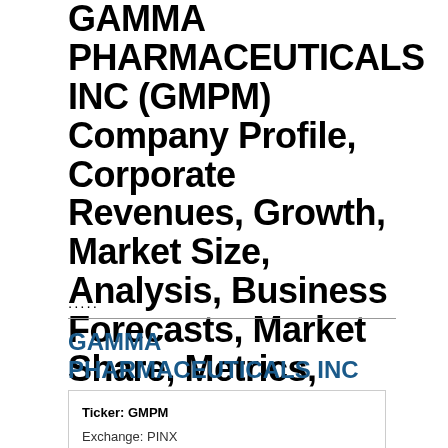GAMMA PHARMACEUTICALS INC (GMPM) Company Profile, Corporate Revenues, Growth, Market Size, Analysis, Business Forecasts, Market Share, Metrics, SWOT
.....
GAMMA PHARMACEUTICALS INC
| Ticker: GMPM |
| Exchange: PINX |
| Parent Company: |